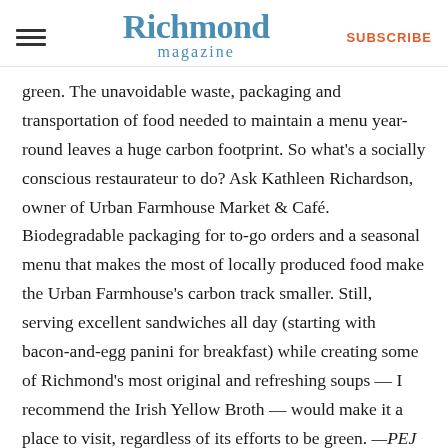Richmond magazine | SUBSCRIBE
green. The unavoidable waste, packaging and transportation of food needed to maintain a menu year-round leaves a huge carbon footprint. So what's a socially conscious restaurateur to do? Ask Kathleen Richardson, owner of Urban Farmhouse Market & Café. Biodegradable packaging for to-go orders and a seasonal menu that makes the most of locally produced food make the Urban Farmhouse's carbon track smaller. Still, serving excellent sandwiches all day (starting with bacon-and-egg panini for breakfast) while creating some of Richmond's most original and refreshing soups — I recommend the Irish Yellow Broth — would make it a place to visit, regardless of its efforts to be green. —PEJ